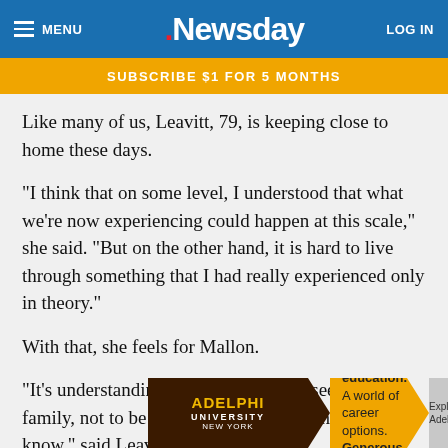MENU | Newsday | LOG IN
SUBSCRIBE $1 FOR 5 MONTHS
Like many of us, Leavitt, 79, is keeping close to home these days.
"I think that on some level, I understood that what we're now experiencing could happen at this scale," she said. "But on the other hand, it is hard to live through something that I had really experienced only in theory."
With that, she feels for Mallon.
"It's understanding how it feels not to see your family, not to be able to talk to people that you know," said Leavitt. "At a pers
[Figure (advertisement): Adelphi University advertisement banner with dark brown left section, gold middle section reading 'A world-class education. A world of career options. Generous financial aid.' and grey right section reading 'Explore Adelphi']